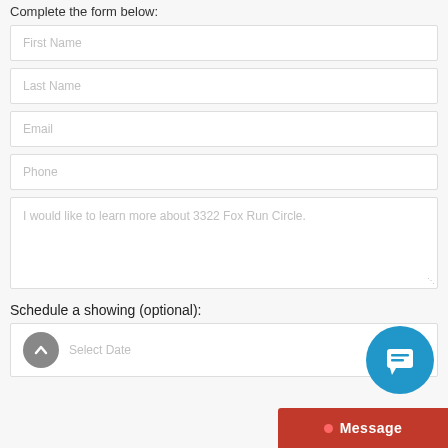Complete the form below:
First Name
Last Name
Email
Phone
I would like to learn more about 3322 Fox Run Circle.
Schedule a showing (optional):
Select Date
[Figure (illustration): Blue circular chat bubble icon with speech bubble icon inside]
Message